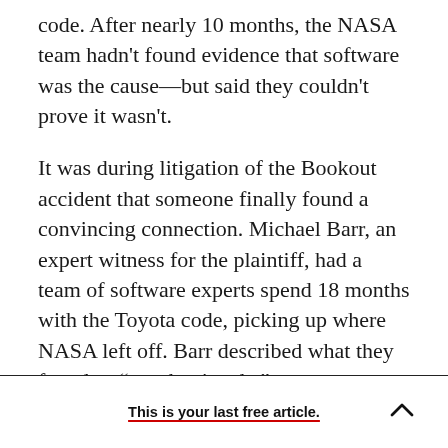code. After nearly 10 months, the NASA team hadn't found evidence that software was the cause—but said they couldn't prove it wasn't.
It was during litigation of the Bookout accident that someone finally found a convincing connection. Michael Barr, an expert witness for the plaintiff, had a team of software experts spend 18 months with the Toyota code, picking up where NASA left off. Barr described what they found as “spaghetti code,” programmer lingo for software that has become a tangled mess. Code turns to spaghetti when it accretes over many years, with
This is your last free article.